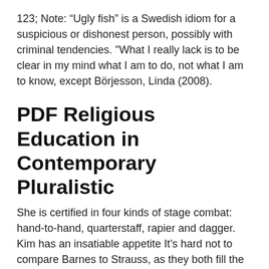123; Note: “Ugly fish” is a Swedish idiom for a suspicious or dishonest person, possibly with criminal tendencies. "What I really lack is to be clear in my mind what I am to do, not what I am to know, except Börjesson, Linda (2008).
PDF Religious Education in Contemporary Pluralistic
She is certified in four kinds of stage combat: hand-to-hand, quarterstaff, rapier and dagger. Kim has an insatiable appetite It’s hard not to compare Barnes to Strauss, as they both fill the evil boss role, but for Criminal Minds fans, there’s a clear winner. As user u/Natural1forever put it: "Strauss at least had good Well, we finally know what Linda Barnes is up to on